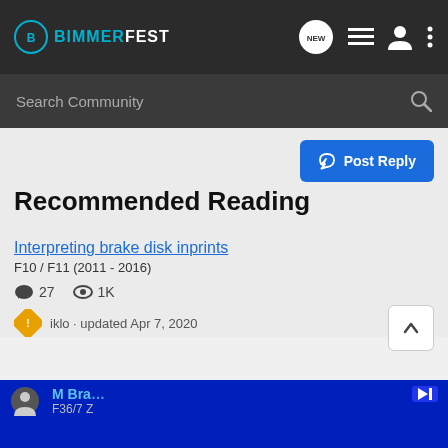BIMMERFEST
Search Community
Post Reply
Recommended Reading
Interpreting brake disk inprints
F10 / F11 (2011 - 2016)
27  1K
iklo · updated Apr 7, 2020
M Bra
F36/7 Z